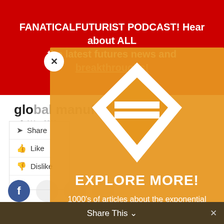FANATICALFUTURIST PODCAST! Hear about ALL the latest futures news and breakthroughs!
global manufacturing
3rd May 2012
[Figure (logo): Futurist diamond/rhombus logo in white on orange background]
EXPLORE MORE!
1000's of articles about the exponential future, 1000's of pages of insights, 1000's of videos, and 100's of exponential technologies: Get The Email from 311, your no-nonsense briefing on all the biggest stories in exponential technology and science.
Share This ∨